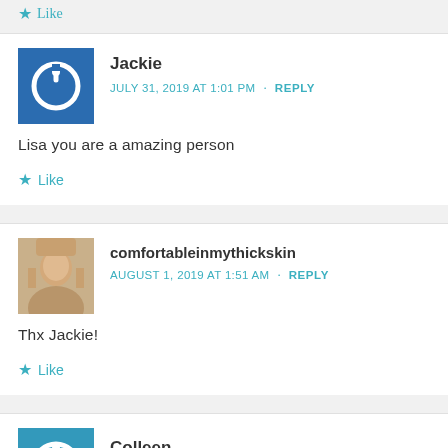Like
Jackie
JULY 31, 2019 AT 1:01 PM · REPLY
Lisa you are a amazing person
Like
comfortableinmythickskin
AUGUST 1, 2019 AT 1:51 AM · REPLY
Thx Jackie!
Like
Colleen